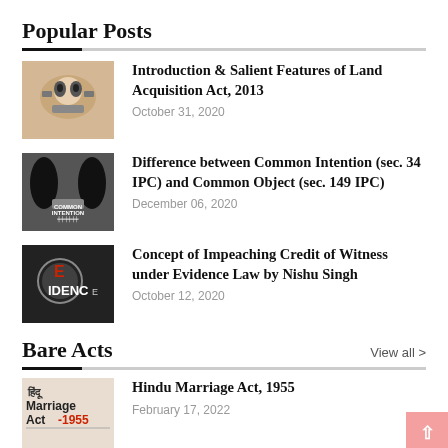Popular Posts
Introduction & Salient Features of Land Acquisition Act, 2013
October 31, 2020
Difference between Common Intention (sec. 34 IPC) and Common Object (sec. 149 IPC)
December 06, 2020
Concept of Impeaching Credit of Witness under Evidence Law by Nishu Singh
October 12, 2020
Bare Acts
View all >
Hindu Marriage Act, 1955
February 17, 2022